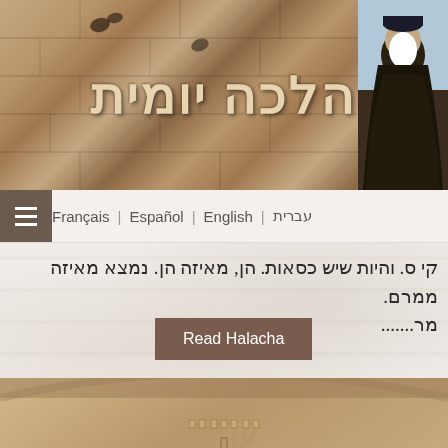[Figure (photo): Website header banner with stone wall background, Hebrew title הלכה יומית (Halacha Yomit) and a rabbi photograph on the right]
הלכה יומית
עברית | English | Español | Français
קי ס. והיות שיש כסאות. הן, מאיזה הן, נמצא מאיזה ממרם.
מר.......
Read Halacha
[Figure (photo): Ancient stone relief carving showing a menorah and figures, appearing to be from the Arch of Titus, with Hebrew watermark הכ partially visible]